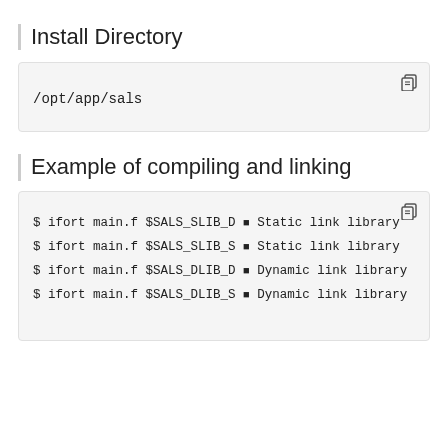Install Directory
/opt/app/sals
Example of compiling and linking
$ ifort main.f $SALS_SLIB_D  # Static link library
$ ifort main.f $SALS_SLIB_S  # Static link library
$ ifort main.f $SALS_DLIB_D  # Dynamic link library
$ ifort main.f $SALS_DLIB_S  # Dynamic link library